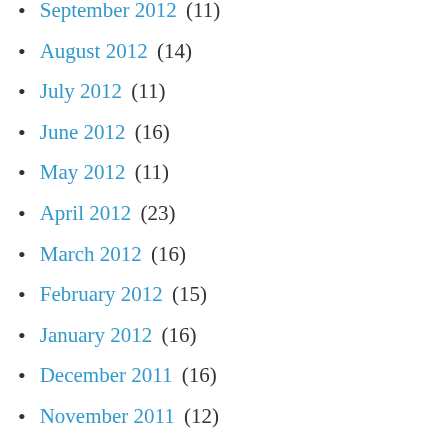September 2012 (11)
August 2012 (14)
July 2012 (11)
June 2012 (16)
May 2012 (11)
April 2012 (23)
March 2012 (16)
February 2012 (15)
January 2012 (16)
December 2011 (16)
November 2011 (12)
October 2011 (20)
September 2011 (12)
August 2011 (10)
July 2011 (10)
June 2011 (22)
May 2011 (23)